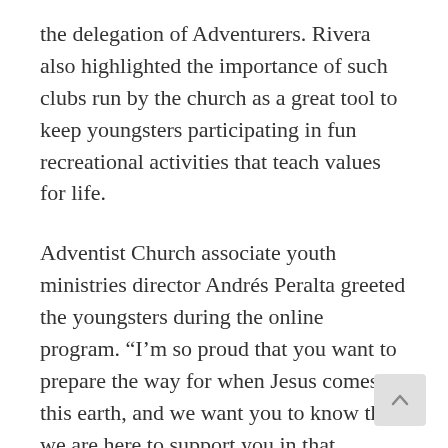the delegation of Adventurers. Rivera also highlighted the importance of such clubs run by the church as a great tool to keep youngsters participating in fun recreational activities that teach values for life.
Adventist Church associate youth ministries director Andrés Peralta greeted the youngsters during the online program. “I’m so proud that you want to prepare the way for when Jesus comes to this earth, and we want you to know that we are here to support you in that mission,” Peralta said.